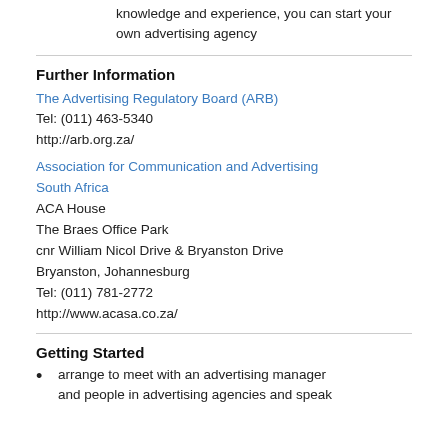Self-employment - if you have the necessary knowledge and experience, you can start your own advertising agency
Further Information
The Advertising Regulatory Board (ARB)
Tel: (011) 463-5340
http://arb.org.za/
Association for Communication and Advertising South Africa
ACA House
The Braes Office Park
cnr William Nicol Drive & Bryanston Drive
Bryanston, Johannesburg
Tel: (011) 781-2772
http://www.acasa.co.za/
Getting Started
arrange to meet with an advertising manager and people in advertising agencies and speak